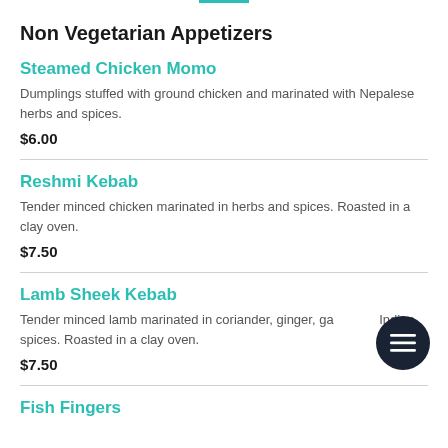Non Vegetarian Appetizers
Steamed Chicken Momo
Dumplings stuffed with ground chicken and marinated with Nepalese herbs and spices.
$6.00
Reshmi Kebab
Tender minced chicken marinated in herbs and spices. Roasted in a clay oven.
$7.50
Lamb Sheek Kebab
Tender minced lamb marinated in coriander, ginger, garlic and Indian spices. Roasted in a clay oven.
$7.50
Fish Fingers